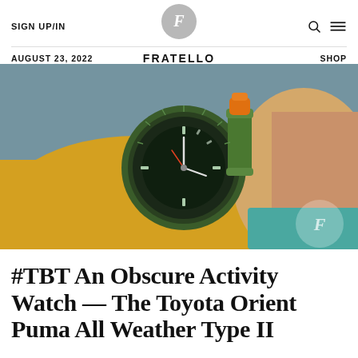SIGN UP/IN | FRATELLO | AUGUST 23, 2022 | SHOP
[Figure (photo): Close-up photo of a green dive watch with black dial and orange crown, worn on a wrist with a yellow sleeve. A cylindrical green accessory is attached to the watch. A Fratello logo watermark appears in the bottom right corner.]
#TBT An Obscure Activity Watch — The Toyota Orient Puma All Weather Type II